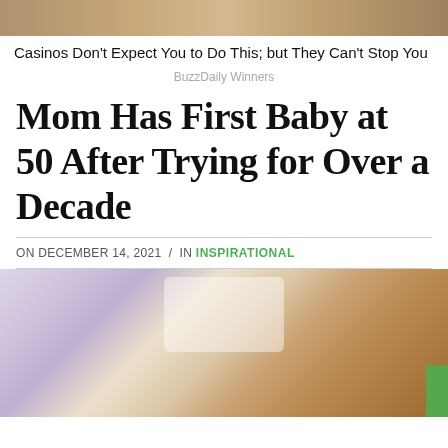[Figure (photo): Cropped top portion of an advertisement image, showing warm brown tones suggesting a casino or person]
Casinos Don't Expect You to Do This; but They Can't Stop You
BuzzDaily Winners
Mom Has First Baby at 50 After Trying for Over a Decade
ON DECEMBER 14, 2021 / IN INSPIRATIONAL
[Figure (photo): A newborn baby wrapped in a white blanket and wearing a light blue medical mask, lying against what appears to be a person in a hospital setting. A green badge is visible on the right edge.]